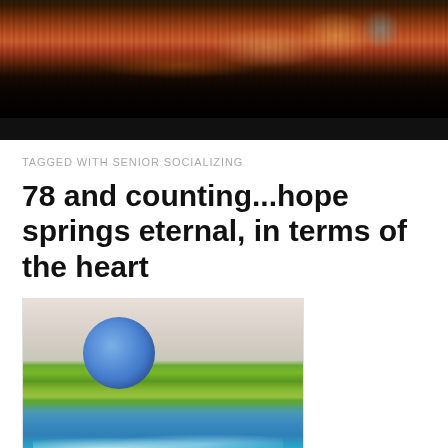[Figure (photo): Abstract painting with orange, red, brown and black tones, horizontal bands of color with textured brushwork]
TAGGED WITH SENIOR SOCIALIZING
78 and counting...hope springs eternal, in terms of the heart
[Figure (photo): Abstract landscape painting with a blue circle (moon or sun) against a cream/white background, horizontal bands of green and blue-green suggesting land and water]